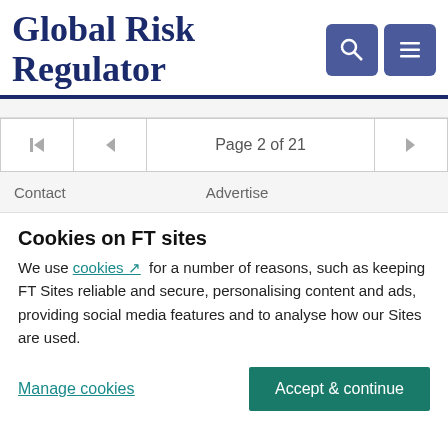Global Risk Regulator
Page 2 of 21
Contact   Advertise
Cookies on FT sites
We use cookies for a number of reasons, such as keeping FT Sites reliable and secure, personalising content and ads, providing social media features and to analyse how our Sites are used.
Manage cookies   Accept & continue